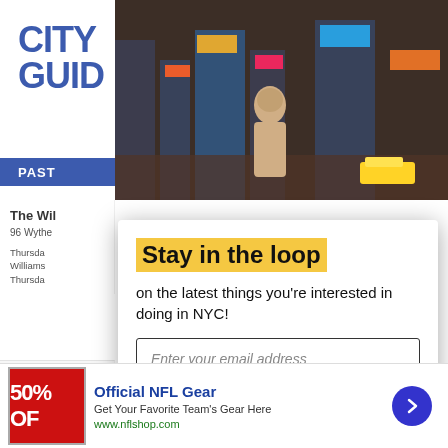[Figure (logo): City Guide logo in bold blue text]
PAST
[Figure (photo): NYC Times Square street scene with person in hoodie viewed from behind, colorful billboards and yellow taxi]
The Wil
96 Wythe
Thursday Williams Thursday
Ball LANDS MARGA YEARS
Stay in the loop
on the latest things you're interested in doing in NYC!
Enter your email address
Enter your zip code
SUBSCRIBE
[Figure (infographic): Advertisement banner: Official NFL Gear - Get Your Favorite Team's Gear Here - www.nflshop.com - 50% OFF red graphic]